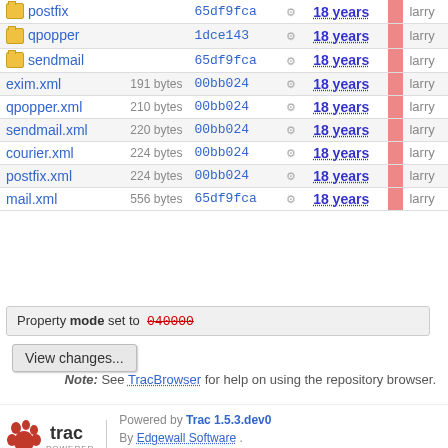| Name | Size | Rev |  | Age | Author |
| --- | --- | --- | --- | --- | --- |
| postfix |  | 65df9fca |  | 18 years | larry |
| qpopper |  | 1dce143 |  | 18 years | larry |
| sendmail |  | 65df9fca |  | 18 years | larry |
| exim.xml | 191 bytes | 00bb024 |  | 18 years | larry |
| qpopper.xml | 210 bytes | 00bb024 |  | 18 years | larry |
| sendmail.xml | 220 bytes | 00bb024 |  | 18 years | larry |
| courier.xml | 224 bytes | 00bb024 |  | 18 years | larry |
| postfix.xml | 224 bytes | 00bb024 |  | 18 years | larry |
| mail.xml | 556 bytes | 65df9fca |  | 18 years | larry |
Property mode set to 040000
View changes...
Note: See TracBrowser for help on using the repository browser.
Powered by Trac 1.5.3.dev0 By Edgewall Software . © 1998-2022 Gerard Beekmans